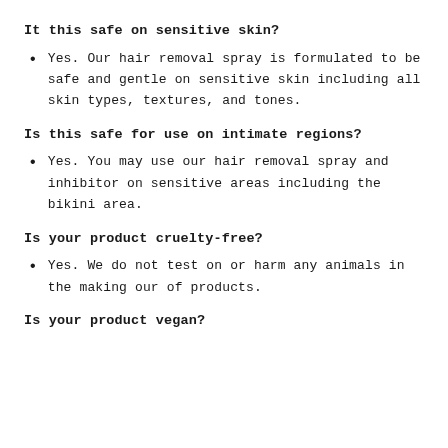It this safe on sensitive skin?
Yes. Our hair removal spray is formulated to be safe and gentle on sensitive skin including all skin types, textures, and tones.
Is this safe for use on intimate regions?
Yes. You may use our hair removal spray and inhibitor on sensitive areas including the bikini area.
Is your product cruelty-free?
Yes. We do not test on or harm any animals in the making our of products.
Is your product vegan?